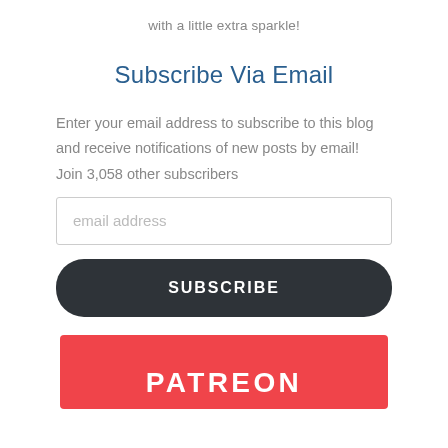with a little extra sparkle!
Subscribe Via Email
Enter your email address to subscribe to this blog and receive notifications of new posts by email! Join 3,058 other subscribers
email address
SUBSCRIBE
[Figure (other): Patreon red banner with white bold text 'PATREON']